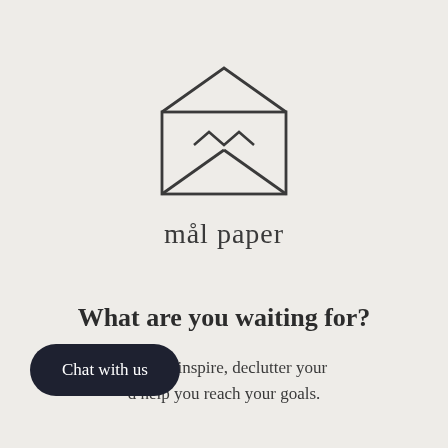[Figure (illustration): Open envelope icon with a letter inside, drawn in a minimalist line-art style with dark gray strokes on a light beige background.]
mål paper
What are you waiting for?
dates to inspire, declutter your d help you reach your goals.
Chat with us